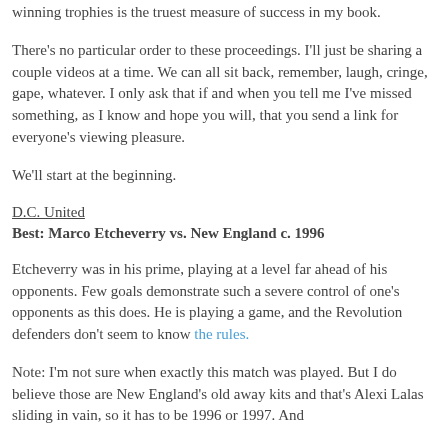winning trophies is the truest measure of success in my book.
There's no particular order to these proceedings. I'll just be sharing a couple videos at a time. We can all sit back, remember, laugh, cringe, gape, whatever. I only ask that if and when you tell me I've missed something, as I know and hope you will, that you send a link for everyone's viewing pleasure.
We'll start at the beginning.
D.C. United
Best: Marco Etcheverry vs. New England c. 1996
Etcheverry was in his prime, playing at a level far ahead of his opponents. Few goals demonstrate such a severe control of one's opponents as this does. He is playing a game, and the Revolution defenders don't seem to know the rules.
Note: I'm not sure when exactly this match was played. But I do believe those are New England's old away kits and that's Alexi Lalas sliding in vain, so it has to be 1996 or 1997. And